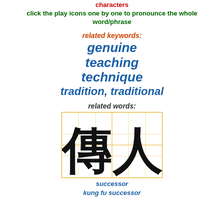characters
click the play icons one by one to pronounce the whole word/phrase
related keywords:
genuine
teaching
technique
tradition, traditional
related words:
[Figure (illustration): Two Chinese characters 傳人 displayed on a grid with orange lines, representing the word for successor/kung fu successor]
successor
kung fu successor